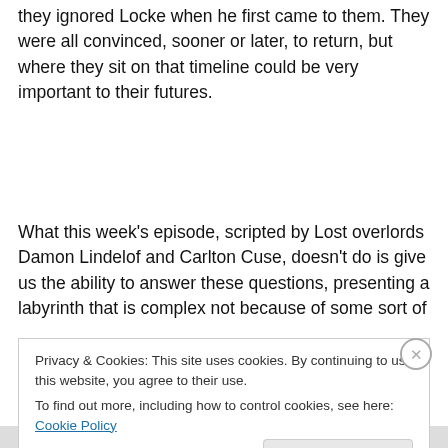they ignored Locke when he first came to them. They were all convinced, sooner or later, to return, but where they sit on that timeline could be very important to their futures.
What this week's episode, scripted by Lost overlords Damon Lindelof and Carlton Cuse, doesn't do is give us the ability to answer these questions, presenting a labyrinth that is complex not because of some sort of
Privacy & Cookies: This site uses cookies. By continuing to use this website, you agree to their use.
To find out more, including how to control cookies, see here: Cookie Policy